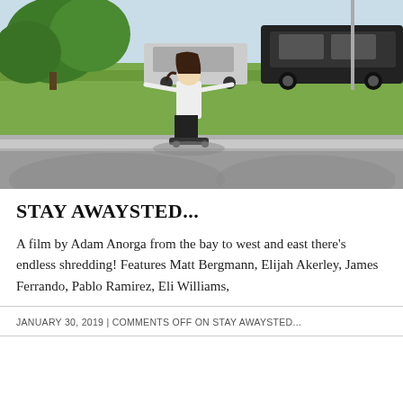[Figure (photo): A skateboarder balancing on a concrete ledge at a skate park, wearing a white t-shirt and dark pants, with arms outstretched. Green grass, trees, and parked vehicles visible in the background.]
STAY AWAYSTED...
A film by Adam Anorga from the bay to west and east there's endless shredding! Features Matt Bergmann, Elijah Akerley, James Ferrando, Pablo Ramirez, Eli Williams,
JANUARY 30, 2019 | COMMENTS OFF ON STAY AWAYSTED...